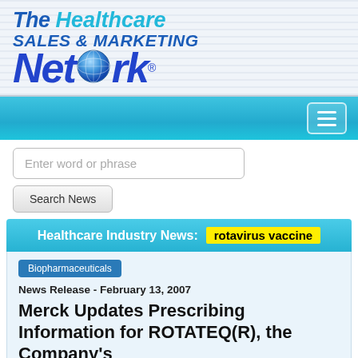The Healthcare Sales & Marketing Network
[Figure (logo): The Healthcare Sales & Marketing Network logo with globe icon]
Enter word or phrase
Search News
Healthcare Industry News: rotavirus vaccine
Biopharmaceuticals
News Release - February 13, 2007
Merck Updates Prescribing Information for ROTATEQ(R), the Company's